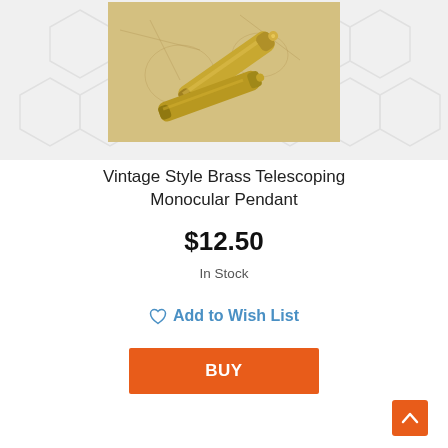[Figure (photo): Vintage style brass telescoping monocular pendants on a map background with hexagonal tile pattern]
Vintage Style Brass Telescoping Monocular Pendant
$12.50
In Stock
Add to Wish List
BUY